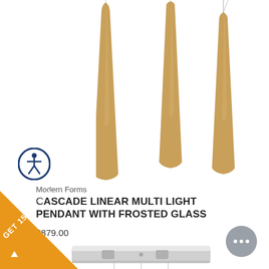[Figure (photo): Three elongated cone-shaped pendant lights in gold/brass finish hanging from ceiling at different heights against white background]
[Figure (logo): Accessibility icon: white person figure in circle with dark blue border]
Modern Forms
CASCADE LINEAR MULTI LIGHT PENDANT WITH FROSTED GLASS
$879.00
[Figure (photo): Bottom portion showing linear canopy/ceiling mount hardware in brushed nickel finish]
[Figure (infographic): Orange triangle badge in bottom-left corner with text GET 15% MORE and an arrow]
[Figure (infographic): Gray circular chat button with three dots in bottom-right corner]